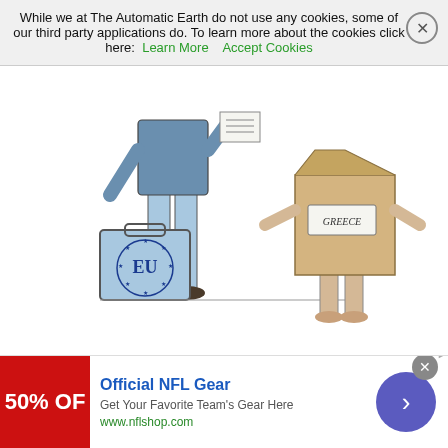While we at The Automatic Earth do not use any cookies, some of our third party applications do. To learn more about the cookies click here: Learn More   Accept Cookies
[Figure (illustration): Political cartoon by Charatte showing a suited figure carrying an EU-branded briefcase on the left, and a figure wrapped in a cardboard box labeled 'Greece' with bare legs on the right.]
Read more …
“..it is not an American empire, it’s not helping Americans. It’s exploiting us in the same way that we used to exploit all these other countries around the world.”
[Figure (illustration): Advertisement banner: Official NFL Gear, Get Your Favorite Team's Gear Here, www.nflshop.com, 50% OFF in red block]